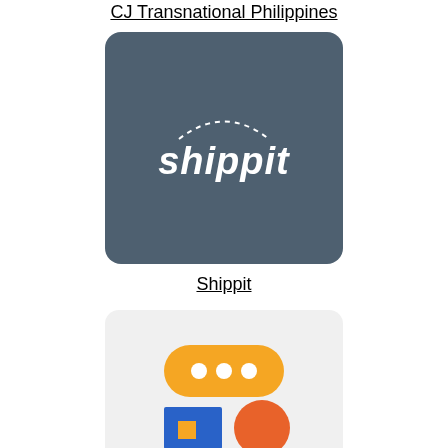CJ Transnational Philippines
[Figure (logo): Shippit logo: dark blue-grey rounded square with 'shippit' text in white italic and dotted arc above]
Shippit
[Figure (logo): ShopfansRU LLC logo: light grey rounded square with orange pill/robot head with dots, blue square and orange circle below]
ShopfansRU LLC
[Figure (logo): Shree Maruti Courier Services Pvt Ltd logo: light grey rounded square with red stylized text MARUTI COURIER SERVICES PVT. LTD. DOMESTIC & INTERNATIONAL]
Shree Maruti Courier Services Pvt Ltd